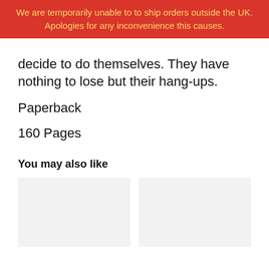We are temporarily unable to to ship orders outside the UK. Apologies for any inconvenience this causes.
decide to do themselves. They have nothing to lose but their hang-ups.
Paperback
160 Pages
You may also like
[Figure (other): Two placeholder image boxes side by side for book recommendations]